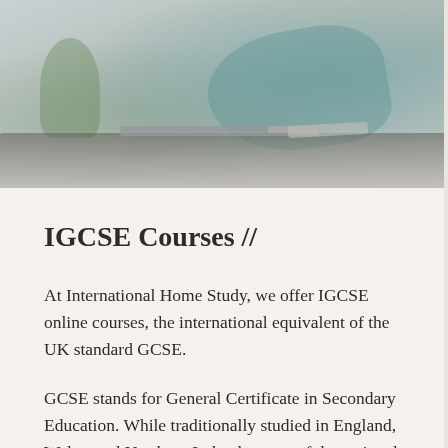[Figure (photo): A person working at a desk with a laptop and tablet, with a plant in the background. The image has a light, faded, slightly desaturated look.]
IGCSE Courses //
At International Home Study, we offer IGCSE online courses, the international equivalent of the UK standard GCSE.
GCSE stands for General Certificate in Secondary Education. While traditionally studied in England, Wales, and Northern Ireland as part of the national